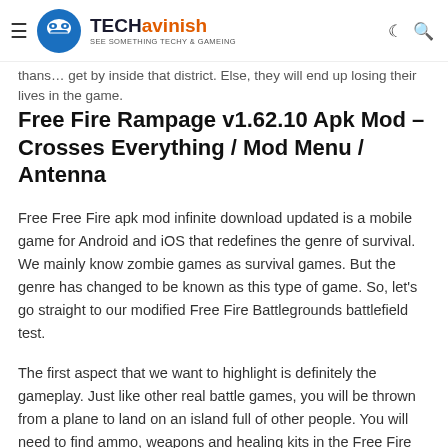TECHavinish - SEE SOMETHING TECHY & GAMEING
thans... get by inside that district. Else, they will end up losing their lives in the game.
Free Fire Rampage v1.62.10 Apk Mod – Crosses Everything / Mod Menu / Antenna
Free Free Fire apk mod infinite download updated is a mobile game for Android and iOS that redefines the genre of survival. We mainly know zombie games as survival games. But the genre has changed to be known as this type of game. So, let's go straight to our modified Free Fire Battlegrounds battlefield test.
The first aspect that we want to highlight is definitely the gameplay. Just like other real battle games, you will be thrown from a plane to land on an island full of other people. You will need to find ammo, weapons and healing kits in the Free Fire mod many free download apk updated...